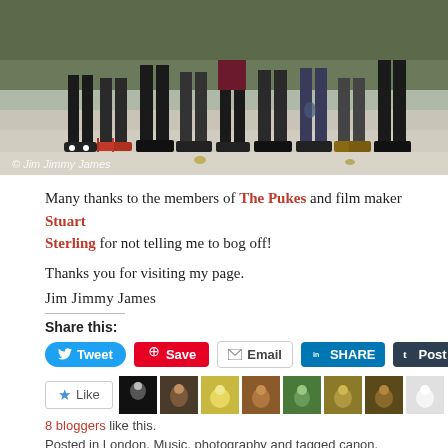[Figure (photo): Photo showing the legs and feet of a group of people standing together outdoors on a pavement. Visible are various styles of shoes and boots. A watermark reads '© Jim Jimmy James' in the lower left corner.]
Many thanks to the members of The Pukes and film maker Stuart Sterling for not telling me to bog off!
Thanks you for visiting my page.
Jim Jimmy James
Share this:
8 bloggers like this.
Posted in London, Music, photography and tagged canon, London,